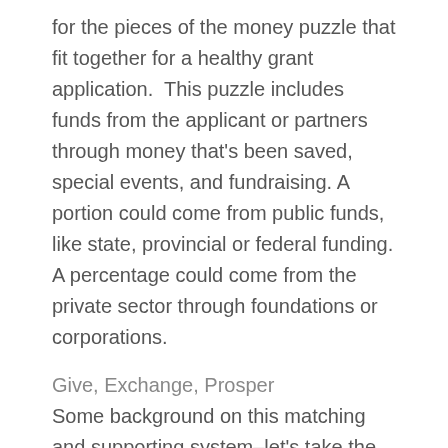for the pieces of the money puzzle that fit together for a healthy grant application.  This puzzle includes funds from the applicant or partners through money that's been saved, special events, and fundraising. A portion could come from public funds, like state, provincial or federal funding. A percentage could come from the private sector through foundations or corporations.
Give, Exchange, Prosper
Some background on this matching and supporting system–let's take the technical jargon out of it, put the people element into it, and step back to explore some history of that thing that many of us humans like to do: give, exchange, and